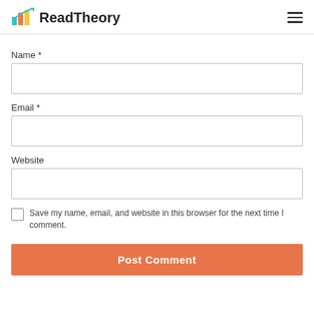ReadTheory
Name *
Email *
Website
Save my name, email, and website in this browser for the next time I comment.
Post Comment